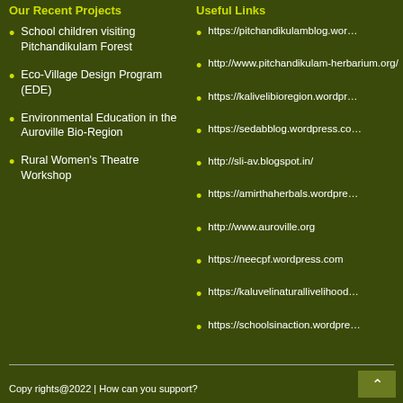Our Recent Projects
Useful Links
School children visiting Pitchandikulam Forest
Eco-Village Design Program (EDE)
Environmental Education in the Auroville Bio-Region
Rural Women's Theatre Workshop
https://pitchandikulamblog.wor…
http://www.pitchandikulam-herbarium.org/
https://kalivelibioregion.wordpr…
https://sedabblog.wordpress.co…
http://sli-av.blogspot.in/
https://amirthaherbals.wordpre…
http://www.auroville.org
https://neecpf.wordpress.com
https://kaluvelinaturallivelihood…
https://schoolsinaction.wordpre…
Copy rights@2022 | How can you support?